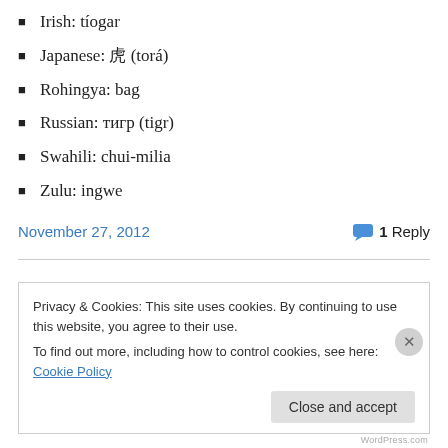Irish: tíogar
Japanese: 虎 (torá)
Rohingya: bag
Russian: тигр (tigr)
Swahili: chui-milia
Zulu: ingwe
November 27, 2012
1 Reply
Privacy & Cookies: This site uses cookies. By continuing to use this website, you agree to their use. To find out more, including how to control cookies, see here: Cookie Policy
Close and accept
WordPress.com